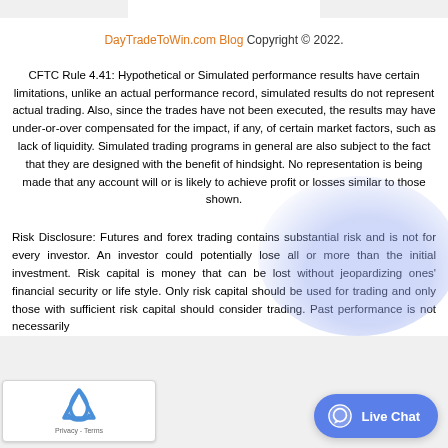DayTradeToWin.com Blog Copyright © 2022.
CFTC Rule 4.41: Hypothetical or Simulated performance results have certain limitations, unlike an actual performance record, simulated results do not represent actual trading. Also, since the trades have not been executed, the results may have under-or-over compensated for the impact, if any, of certain market factors, such as lack of liquidity. Simulated trading programs in general are also subject to the fact that they are designed with the benefit of hindsight. No representation is being made that any account will or is likely to achieve profit or losses similar to those shown.
Risk Disclosure: Futures and forex trading contains substantial risk and is not for every investor. An investor could potentially lose all or more than the initial investment. Risk capital is money that can be lost without jeopardizing ones' financial security or life style. Only risk capital should be used for trading and only those with sufficient risk capital should consider trading. Past performance is not necessarily